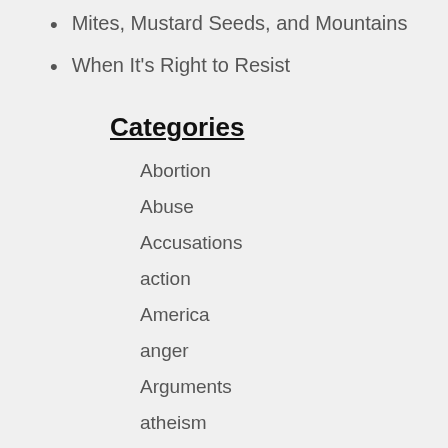Mites, Mustard Seeds, and Mountains
When It's Right to Resist
Categories
Abortion
Abuse
Accusations
action
America
anger
Arguments
atheism
Bible
Bible Study
Blessing